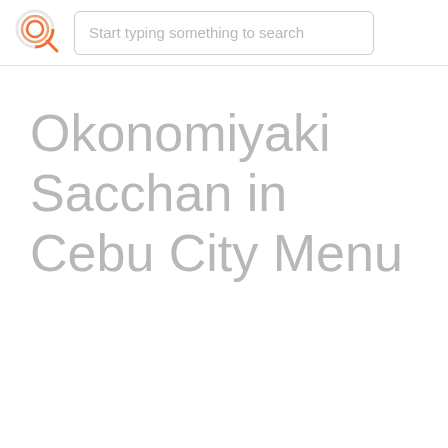[Figure (logo): Circular orange logo with concentric rings and a magnifying glass style icon]
Start typing something to search
Okonomiyaki Sacchan in Cebu City Menu